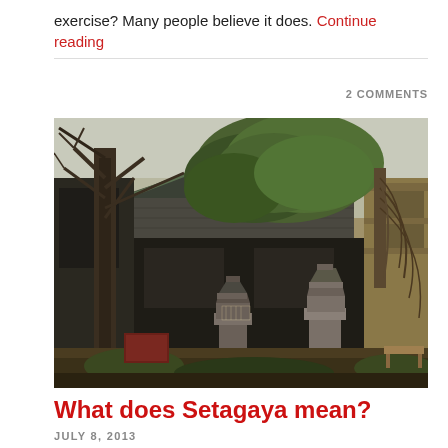exercise? Many people believe it does. Continue reading
2 COMMENTS
[Figure (photo): Japanese garden with traditional architecture, stone lanterns, pine trees, and a weeping tree in front of a traditional Japanese building with tiled roof]
What does Setagaya mean?
JULY 8, 2013